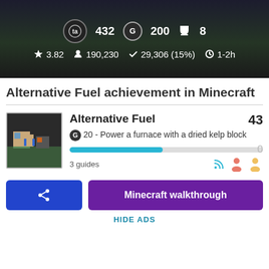[Figure (screenshot): Game stats banner showing: TA score 432, G 200, trophy 8, star rating 3.82, 190,230 players, 29,306 (15%) completions, 1-2h time]
Alternative Fuel achievement in Minecraft
[Figure (screenshot): Achievement card: Alternative Fuel, 43 points, G 20 - Power a furnace with a dried kelp block, 0 earned, progress bar ~48%, 3 guides]
Minecraft walkthrough
HIDE ADS